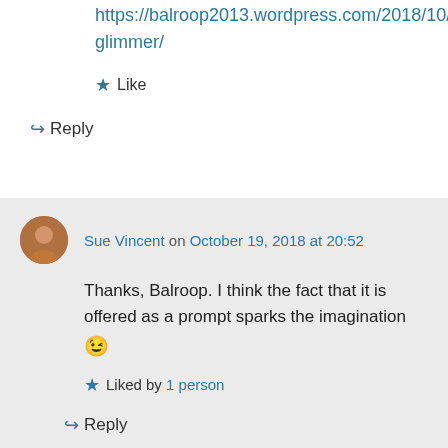https://balroop2013.wordpress.com/2018/10/19/glimmer/
★ Like
↳ Reply
Sue Vincent on October 19, 2018 at 20:52
Thanks, Balroop. I think the fact that it is offered as a prompt sparks the imagination 😉
★ Liked by 1 person
↳ Reply